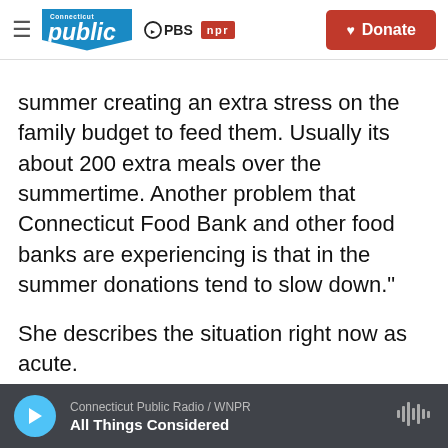Connecticut Public | PBS | NPR — Donate
summer creating an extra stress on the family budget to feed them. Usually its about 200 extra meals over the summertime. Another problem that Connecticut Food Bank and other food banks are experiencing is that in the summer donations tend to slow down."
She describes the situation right now as acute.
Back in Newhallville, Wilson Rodriguez of Believe in Me says doors to the food bank are
Connecticut Public Radio / WNPR — All Things Considered